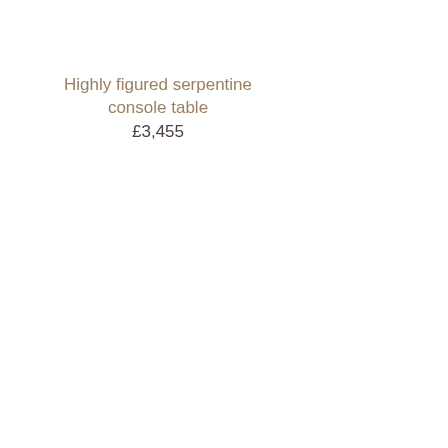Highly figured serpentine console table
£3,455